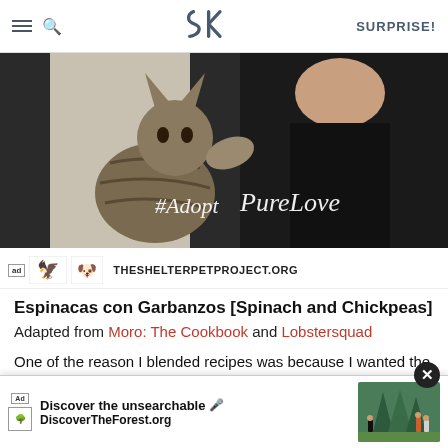SK | SURPRISE!
[Figure (photo): Advertisement photo showing a man and a cat with text '#Adopt PureLove' overlay, including THESHELTERPETPROJECT.ORG branding with ad logos]
Espinacas con Garbanzos [Spinach and Chickpeas]
Adapted from Moro: The Cookbook and Lobstersquad
One of the reason I blended recipes was because I wanted the approachability of Ximena's version but also some of the extras in Moro's — the vinegar, paprika and the fried bread, mashed to a paste. Except, in hindsig... the bread.
[Figure (screenshot): Bottom ad overlay: 'Discover the unsearchable' with microphone icon and DiscoverTheForest.org, with forest photo on right and close button]